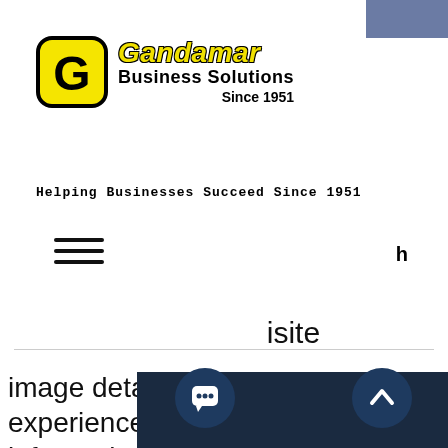[Figure (logo): Gandamar Business Solutions logo with yellow G icon and text, Since 1951]
Helping Businesses Succeed Since 1951
[Figure (infographic): Hamburger menu icon (three horizontal lines)]
…exquisite image detail for breathtaking visual experiences with four times more information and workspace than a Full HD 1080p display to enhance your efficiency and productivity.